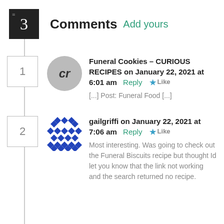3 Comments Add yours
Funeral Cookies – CURIOUS RECIPES on January 22, 2021 at 6:01 am Reply Like [...] Post: Funeral Food [...]
gailgriffi on January 22, 2021 at 7:06 am Reply Like Most interesting. Was going to check out the Funeral Biscuits recipe but thought Id let you know that the link not working and the search returned no recipe.